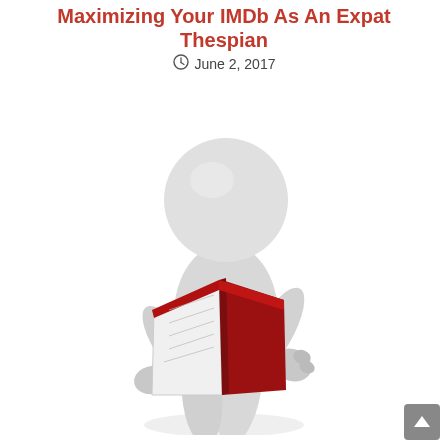Maximizing Your IMDb As An Expat Thespian
June 2, 2017
[Figure (illustration): A white 3D generic humanoid figure reading an open red book, standing against a white background]